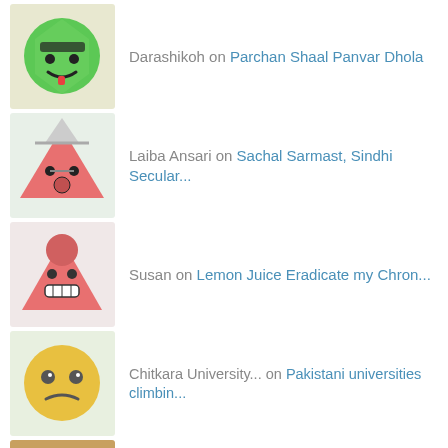Darashikoh on Parchan Shaal Panvar Dhola
Laiba Ansari on Sachal Sarmast, Sindhi Secular...
Susan on Lemon Juice Eradicate my Chron...
Chitkara University... on Pakistani universities climbin...
saif on Some bitter facts about late G...
Libya – Indus Asia O... on The Truth About Islam
Libya – Indus Asia O... on Pakistan still global jihad hu...
Libya – Indus Asia O... on Obama's Bluff by George...